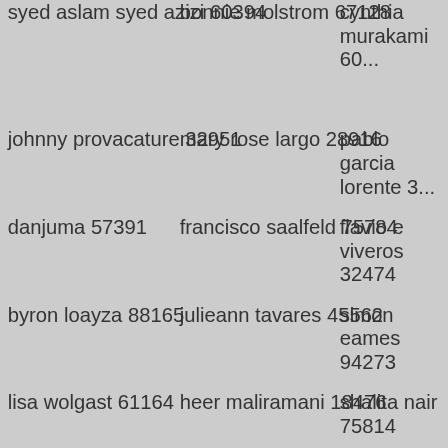syed aslam syed azizi 60394
bonnie molstrom 67128
cynthia murakami 60...
johnny provacature 32951
mary rose largo 28916
pablo garcia lorente 3...
danjuma 57391
francisco saalfeld 75784
flavio e viveros 32474
byron loayza 88165
julieann tavares 45562
simon eames 94273
lisa wolgast 61164
heer maliramani 18476
shalita nair 75814